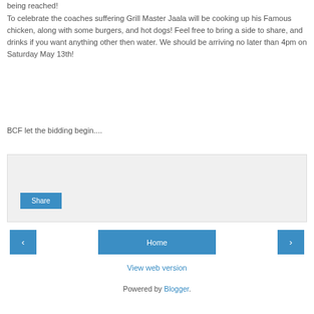being reached!
To celebrate the coaches suffering Grill Master Jaala will be cooking up his Famous chicken, along with some burgers, and hot dogs! Feel free to bring a side to share, and drinks if you want anything other then water. We should be arriving no later than 4pm on Saturday May 13th!
BCF let the bidding begin....
[Figure (screenshot): Share button widget area with light gray background]
[Figure (screenshot): Navigation row with left arrow button, Home button, and right arrow button]
View web version
Powered by Blogger.